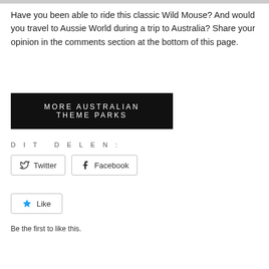Have you been able to ride this classic Wild Mouse? And would you travel to Aussie World during a trip to Australia? Share your opinion in the comments section at the bottom of this page.
MORE AUSTRALIAN THEME PARKS
DIT DELEN:
Twitter
Facebook
Like
Be the first to like this.